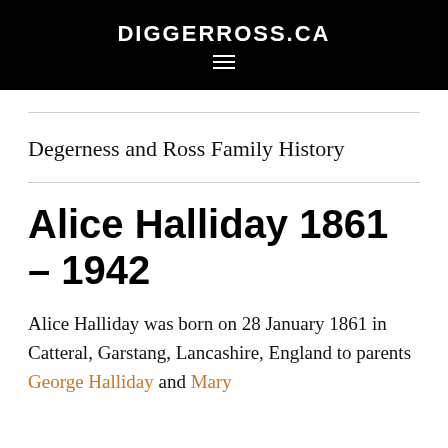DIGGERROSS.CA
Degerness and Ross Family History
Alice Halliday 1861 – 1942
Alice Halliday was born on 28 January 1861 in Catteral, Garstang, Lancashire, England to parents George Halliday and Mary